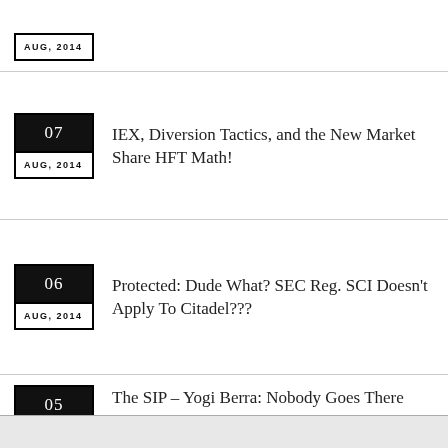AUG, 2014
07 AUG, 2014 — IEX, Diversion Tactics, and the New Market Share HFT Math!
06 AUG, 2014 — Protected: Dude What? SEC Reg. SCI Doesn't Apply To Citadel???
05 AUG, 2014 — The SIP – Yogi Berra: Nobody Goes There Anymore…